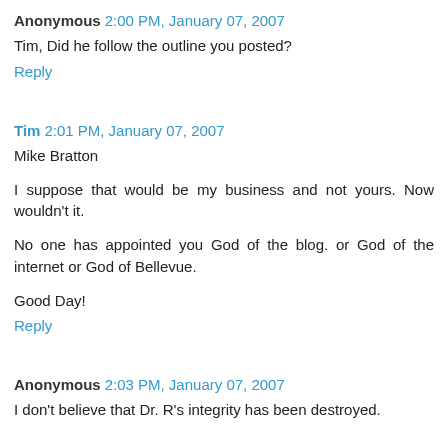Anonymous 2:00 PM, January 07, 2007
Tim, Did he follow the outline you posted?
Reply
Tim 2:01 PM, January 07, 2007
Mike Bratton
I suppose that would be my business and not yours. Now wouldn't it.
No one has appointed you God of the blog. or God of the internet or God of Bellevue.
Good Day!
Reply
Anonymous 2:03 PM, January 07, 2007
I don't believe that Dr. R's integrity has been destroyed.